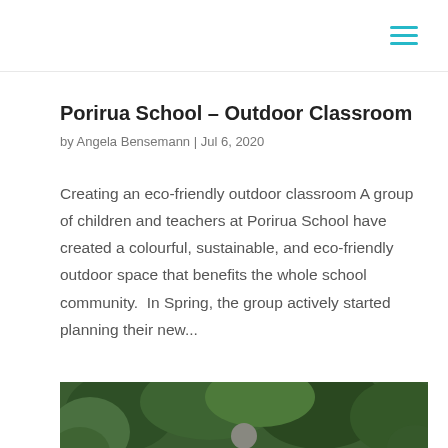Porirua School – Outdoor Classroom
by Angela Bensemann | Jul 6, 2020
Creating an eco-friendly outdoor classroom A group of children and teachers at Porirua School have created a colourful, sustainable, and eco-friendly outdoor space that benefits the whole school community.  In Spring, the group actively started planning their new...
[Figure (photo): Photo of a person (adult) standing outdoors with a group of children, surrounded by lush green foliage and plants, in a school outdoor setting.]